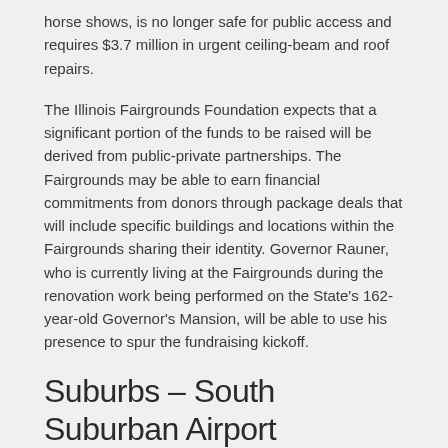horse shows, is no longer safe for public access and requires $3.7 million in urgent ceiling-beam and roof repairs.
The Illinois Fairgrounds Foundation expects that a significant portion of the funds to be raised will be derived from public-private partnerships. The Fairgrounds may be able to earn financial commitments from donors through package deals that will include specific buildings and locations within the Fairgrounds sharing their identity. Governor Rauner, who is currently living at the Fairgrounds during the renovation work being performed on the State's 162-year-old Governor's Mansion, will be able to use his presence to spur the fundraising kickoff.
Suburbs – South Suburban Airport
Push to build third airport continues. The Illinois Department of Transportation (IDOT) announced this week that six firms have responded to their request for